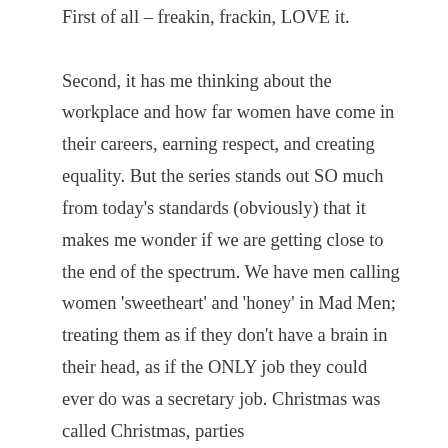First of all – freakin, frackin, LOVE it.

Second, it has me thinking about the workplace and how far women have come in their careers, earning respect, and creating equality. But the series stands out SO much from today's standards (obviously) that it makes me wonder if we are getting close to the end of the spectrum. We have men calling women 'sweetheart' and 'honey' in Mad Men; treating them as if they don't have a brain in their head, as if the ONLY job they could ever do was a secretary job. Christmas was called Christmas, parties